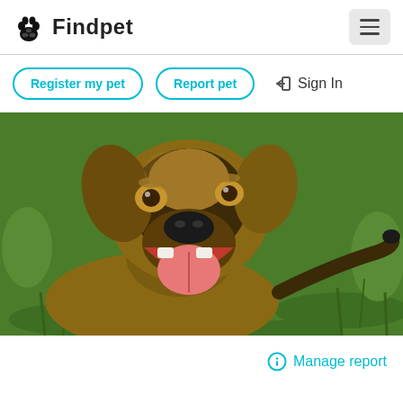Findpet
Register my pet
Report pet
Sign In
[Figure (photo): A happy brown and black dog (possibly German Shepherd mix) lying on green grass, facing the camera with mouth open and tongue out, tail visible in background]
Manage report